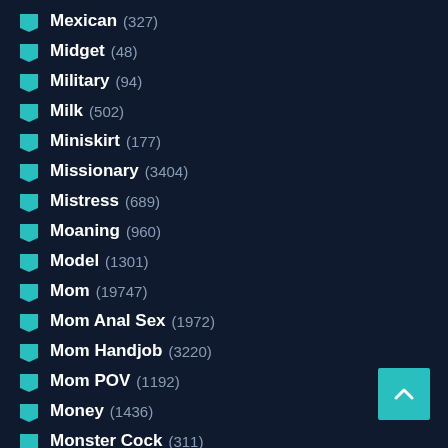Mexican (327)
Midget (48)
Military (94)
Milk (502)
Miniskirt (177)
Missionary (3404)
Mistress (689)
Moaning (960)
Model (1301)
Mom (19747)
Mom Anal Sex (1972)
Mom Handjob (3220)
Mom POV (1192)
Money (1436)
Monster Cock (311)
Monster Tits (151)
Motel (230)
Mouthful (partial)